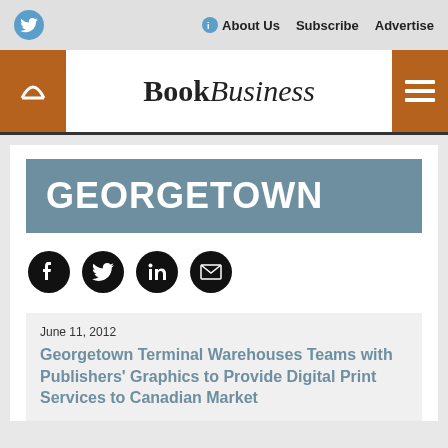About Us  Subscribe  Advertise
[Figure (logo): BookBusiness logo with Book in bold serif and Business in italic serif]
GEORGETOWN
[Figure (infographic): Social share icons: Facebook, Twitter, LinkedIn, Email]
June 11, 2012
Georgetown Terminal Warehouses Teams with Publishers' Graphics to Provide Digital Print Services to Canadian Market